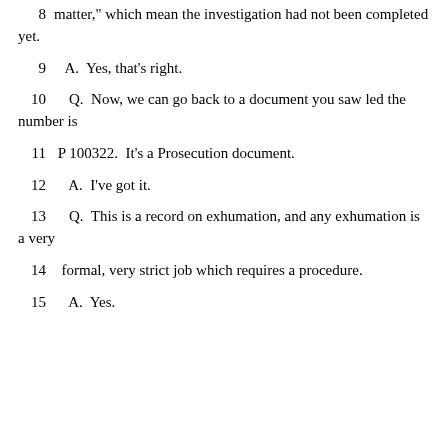8    matter," which mean the investigation had not been completed yet.
9    A.   Yes, that's right.
10    Q.   Now, we can go back to a document you saw led the number is
11   P 100322.  It's a Prosecution document.
12    A.   I've got it.
13    Q.   This is a record on exhumation, and any exhumation is a very
14   formal, very strict job which requires a procedure.
15    A.   Yes.